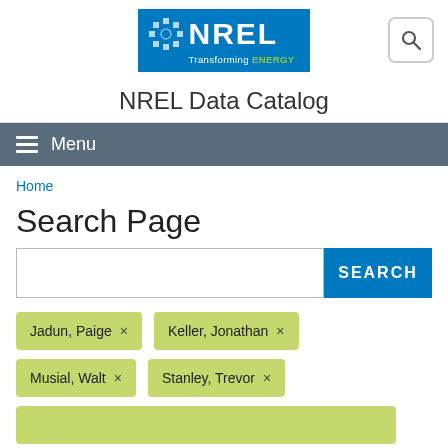[Figure (logo): NREL logo — blue background with white NREL text and dotted circle icon, tagline 'Transforming ENERGY' in white and green]
NREL Data Catalog
Menu
Home
Search Page
SEARCH (search input and button)
Jadun, Paige ×
Keller, Jonathan ×
Musial, Walt ×
Stanley, Trevor ×